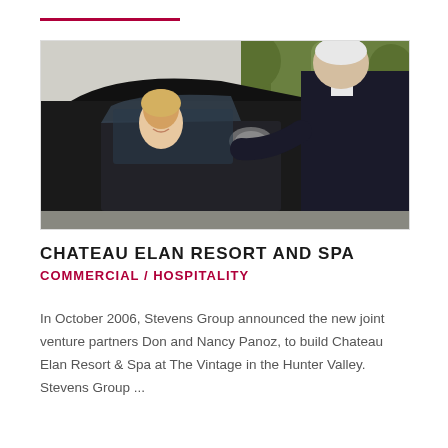[Figure (photo): A hotel valet or concierge in a dark blazer leaning toward the driver's window of a dark car, greeting a smiling blonde woman inside the vehicle. Green trees are visible in the background.]
CHATEAU ELAN RESORT AND SPA
COMMERCIAL / HOSPITALITY
In October 2006, Stevens Group announced the new joint venture partners Don and Nancy Panoz, to build Chateau Elan Resort & Spa at The Vintage in the Hunter Valley. Stevens Group ...